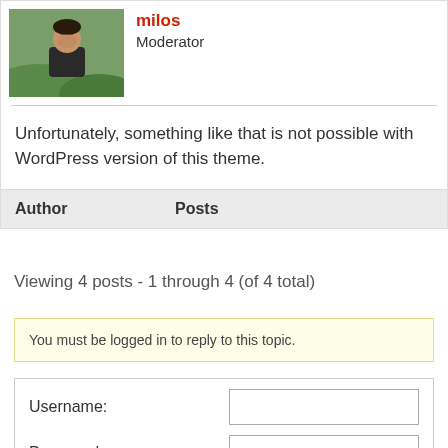[Figure (photo): Avatar photo of a man outdoors with green background]
milos
Moderator
Unfortunately, something like that is not possible with WordPress version of this theme.
| Author | Posts |
| --- | --- |
Viewing 4 posts - 1 through 4 (of 4 total)
You must be logged in to reply to this topic.
Username:
Password:
Keep me signed in
Log In